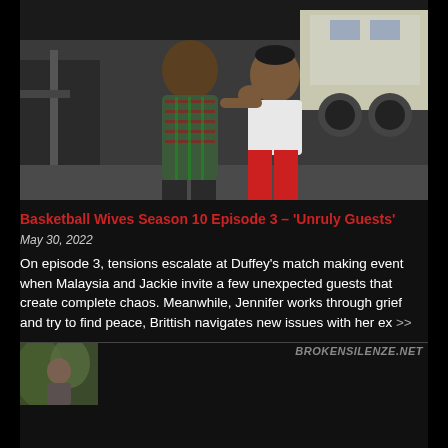[Figure (photo): A man in a plaid shirt and a woman in a white top and red pants posing together at what appears to be a gas station or parking area]
Basketball Wives Season 10 Episode 3 – 'Unruly Guests'
May 30, 2022
On episode 3, tensions escalate at Duffey's match making event when Malaysia and Jackie invite a few unexpected guests that create complete chaos. Meanwhile, Jennifer works through grief and try to find peace, Brittish navigates new issues with her ex >>
[Figure (photo): Bottom partial photo with a person visible on the left side and brokensilenze.net watermark on the right]